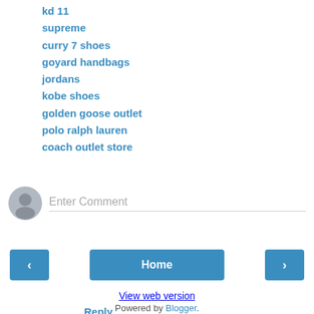kd 11
supreme
curry 7 shoes
goyard handbags
jordans
kobe shoes
golden goose outlet
polo ralph lauren
coach outlet store
Reply
Enter Comment
Home
View web version
Powered by Blogger.